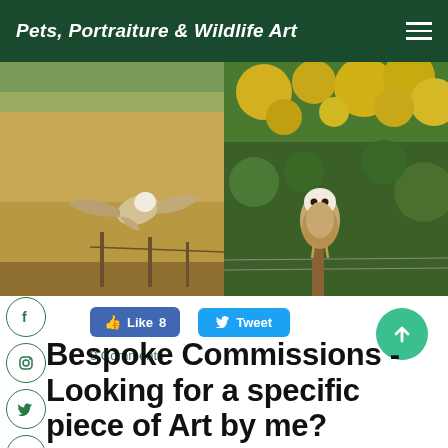Pets, Portraiture & Wildlife Art
[Figure (photo): Barn owl in flight over a field with golden grass and fence posts in the background]
[Figure (photo): Barn owl perched on a wooden fence post with bright yellow gorse flowers in the background]
Like 8   Tweet   Comments
Bespoke Commissions - Looking for a specific piece of Art by me?